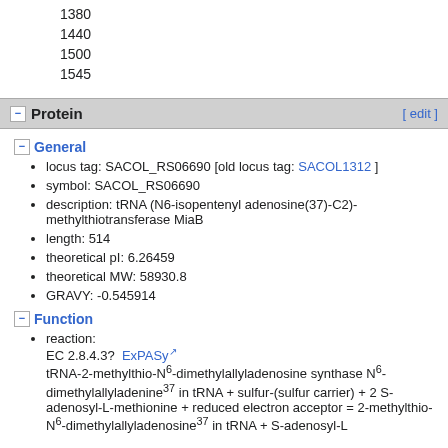1380
1440
1500
1545
Protein [ edit ]
General
locus tag: SACOL_RS06690 [old locus tag: SACOL1312 ]
symbol: SACOL_RS06690
description: tRNA (N6-isopentenyl adenosine(37)-C2)-methylthiotransferase MiaB
length: 514
theoretical pI: 6.26459
theoretical MW: 58930.8
GRAVY: -0.545914
Function
reaction: EC 2.8.4.3? ExPASy tRNA-2-methylthio-N6-dimethylallyladenosine synthase N6-dimethylallyladenine37 in tRNA + sulfur-(sulfur carrier) + 2 S-adenosyl-L-methionine + reduced electron acceptor = 2-methylthio-N6-dimethylallyladenosine37 in tRNA + S-adenosyl-L